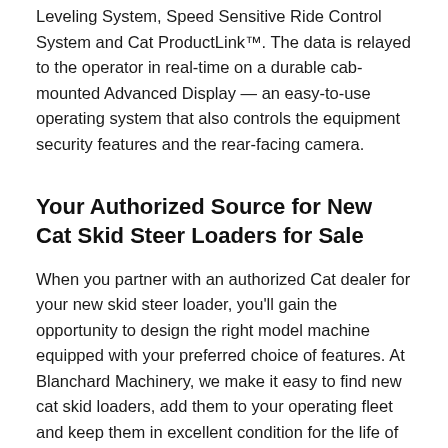Leveling System, Speed Sensitive Ride Control System and Cat ProductLink™. The data is relayed to the operator in real-time on a durable cab-mounted Advanced Display — an easy-to-use operating system that also controls the equipment security features and the rear-facing camera.
Your Authorized Source for New Cat Skid Steer Loaders for Sale
When you partner with an authorized Cat dealer for your new skid steer loader, you'll gain the opportunity to design the right model machine equipped with your preferred choice of features. At Blanchard Machinery, we make it easy to find new cat skid loaders, add them to your operating fleet and keep them in excellent condition for the life of your equipment. You'll gain complete dealer support for the purchase and care of